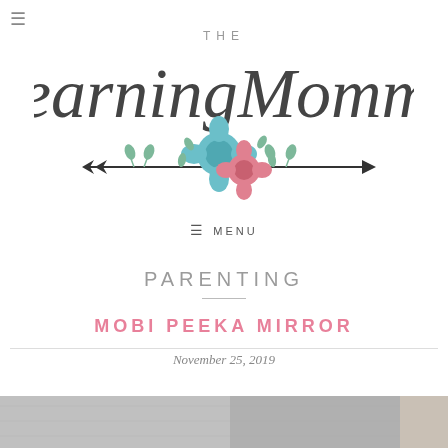[Figure (logo): The Learning Momma blog logo with cursive script text and a floral arrow decoration]
☰ MENU
PARENTING
MOBI PEEKA MIRROR
November 25, 2019
[Figure (photo): Partial photo at bottom of page, appears to show a grey textured surface]